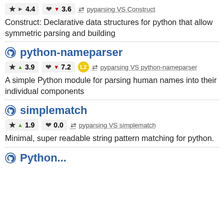★ ▶ 4.4   ♥ ▼ 3.6   ⇌ pyparsing VS Construct
Construct: Declarative data structures for python that allow symmetric parsing and building
python-nameparser
★ ▲ 3.9   ♥ ▼ 7.2   L2   ⇌ pyparsing VS python-nameparser
A simple Python module for parsing human names into their individual components
simplematch
★ ▲ 1.9   ♥ 0.0   ⇌ pyparsing VS simplematch
Minimal, super readable string pattern matching for python.